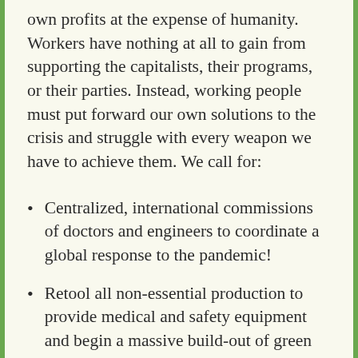own profits at the expense of humanity. Workers have nothing at all to gain from supporting the capitalists, their programs, or their parties. Instead, working people must put forward our own solutions to the crisis and struggle with every weapon we have to achieve them. We call for:
Centralized, international commissions of doctors and engineers to coordinate a global response to the pandemic!
Retool all non-essential production to provide medical and safety equipment and begin a massive build-out of green infrastructure!
No bans, no walls, amnesty for all immigrants and refugees, with full